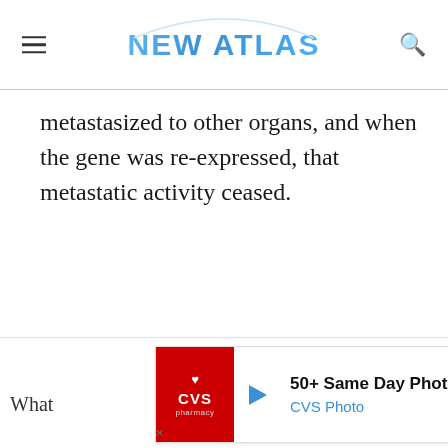NEW ATLAS
metastasized to other organs, and when the gene was re-expressed, that metastatic activity ceased.
[Figure (other): Advertisement banner for CVS Photo showing '50+ Same Day Photo Products' and 'CVS Photo' text with CVS pharmacy logo and navigation icon. Surrounding text reads 'What' on the left and 't-' on the right.]